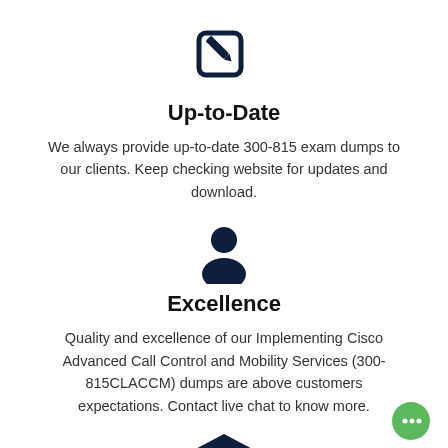[Figure (illustration): Dark navy edit/pencil-on-square icon]
Up-to-Date
We always provide up-to-date 300-815 exam dumps to our clients. Keep checking website for updates and download.
[Figure (illustration): Dark navy person/user silhouette icon]
Excellence
Quality and excellence of our Implementing Cisco Advanced Call Control and Mobility Services (300-815CLACCM) dumps are above customers expectations. Contact live chat to know more.
[Figure (illustration): Green circular chat bubble button at bottom right]
[Figure (illustration): Dark navy graduation cap icon partially visible at bottom center]